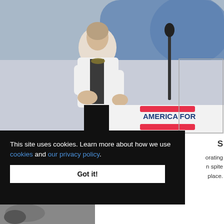[Figure (photo): A woman in a white blazer speaking at a podium labeled 'AMERICA FOR BULGARIA' with two red horizontal bars on a white lectern, microphone visible, blurred blue background.]
This site uses cookies. Learn more about how we use cookies and our privacy policy.
Got it!
S
orating
n spite
place.
[Figure (photo): Partial photo visible at the bottom of the page.]